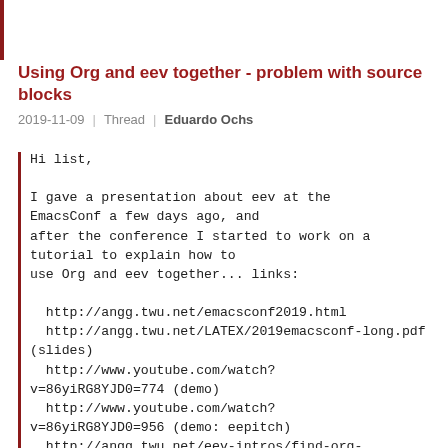Using Org and eev together - problem with source blocks
2019-11-09  |  Thread  |  Eduardo Ochs
Hi list,

I gave a presentation about eev at the
EmacsConf a few days ago, and
after the conference I started to work on a
tutorial to explain how to
use Org and eev together... links:

   http://angg.twu.net/emacsconf2019.html
   http://angg.twu.net/LATEX/2019emacsconf-long.pdf (slides)
   http://www.youtube.com/watch?v=86yiRG8YJD0=774 (demo)
   http://www.youtube.com/watch?v=86yiRG8YJD0=956 (demo: eepitch)
   http://angg.twu.net/eev-intros/find-org-intro.html (eev+Org, html)
   http://angg.twu.net/eev-intros/find-org-